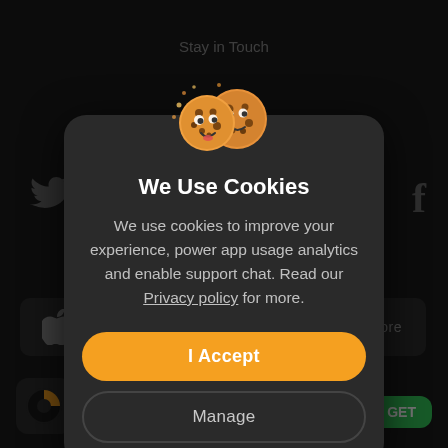[Figure (screenshot): Dark-themed website background showing social media icons (Twitter bird, Facebook 'f'), Apple app store buttons, a donut-chart app icon, and a green GET button partially visible behind the cookie consent modal.]
We Use Cookies
We use cookies to improve your experience, power app usage analytics and enable support chat. Read our Privacy policy for more.
I Accept
Manage